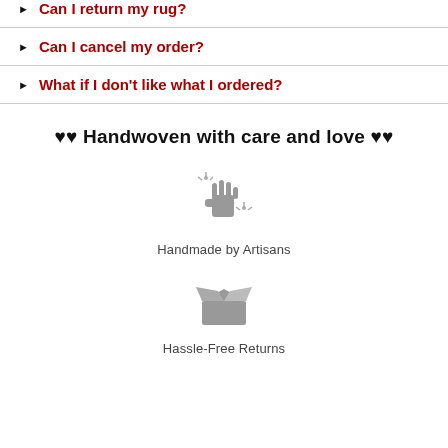Can I return my rug?
Can I cancel my order?
What if I don't like what I ordered?
♥♥ Handwoven with care and love ♥♥
[Figure (illustration): Gray sparkle hand icon representing handmade craftsmanship]
Handmade by Artisans
[Figure (illustration): Gray open box icon representing hassle-free returns]
Hassle-Free Returns